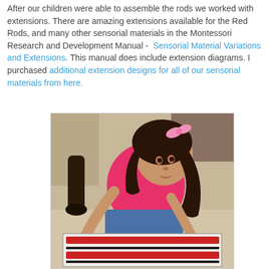After our children were able to assemble the rods we worked with extensions. There are amazing extensions available for the Red Rods, and many other sensorial materials in the Montessori Research and Development Manual -  Sensorial Material Variations and Extensions. This manual does include extension diagrams. I purchased additional extension designs for all of our sensorial materials from here.
[Figure (photo): A young girl with dark hair and a pink bow, wearing a pink shirt and jeans, kneeling on the floor and leaning over Montessori red rods laid out on a mat.]